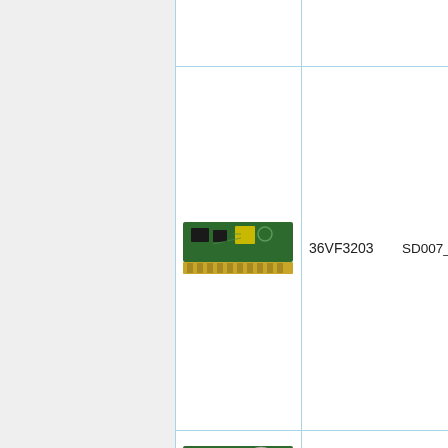[Figure (photo): Green circuit board/memory module with gold edge connector — product 36VF3203]
36VF3203
SD007_
[Figure (photo): Green circuit board/memory module with gold edge connector and coin cell battery — product 36VF3204]
36VF3204
SD007_
or SD00
or SD00